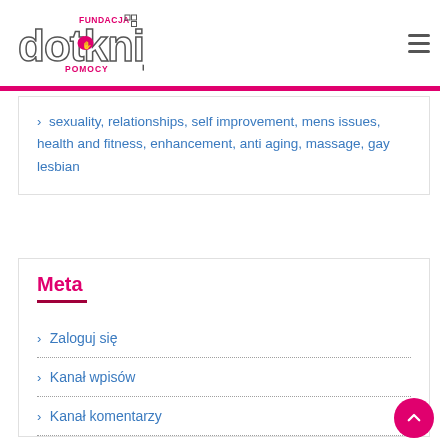Fundacja Dotknij Pomocy – logo and navigation
> sexuality, relationships, self improvement, mens issues, health and fitness, enhancement, anti aging, massage, gay lesbian
Meta
> Zaloguj się
> Kanał wpisów
> Kanał komentarzy